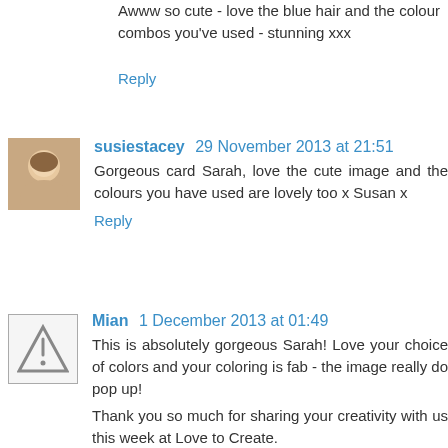Awww so cute - love the blue hair and the colour combos you've used - stunning xxx
Reply
susiestacey 29 November 2013 at 21:51
Gorgeous card Sarah, love the cute image and the colours you have used are lovely too x Susan x
Reply
Mian 1 December 2013 at 01:49
This is absolutely gorgeous Sarah! Love your choice of colors and your coloring is fab - the image really do pop up!
Thank you so much for sharing your creativity with us this week at Love to Create.
Best of luck and we'd love to have you visit again!
Hugs Mian
Love to Create Design Team Member